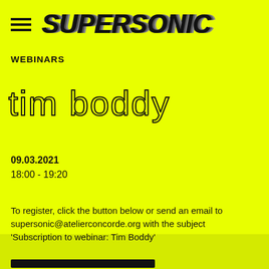SUPERSONIC
WEBINARS
tim boddy
09.03.2021
18:00 - 19:20
To register, click the button below or send an email to supersonic@atelierconcorde.org with the subject 'Subscription to webinar: Tim Boddy'
ABOUT   OPEN CALL   EN